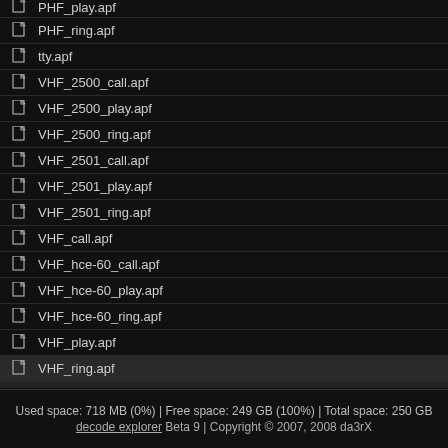PHF_play.apf
PHF_ring.apf
tty.apf
VHF_2500_call.apf
VHF_2500_play.apf
VHF_2500_ring.apf
VHF_2501_call.apf
VHF_2501_play.apf
VHF_2501_ring.apf
VHF_call.apf
VHF_hce-60_call.apf
VHF_hce-60_play.apf
VHF_hce-60_ring.apf
VHF_play.apf
VHF_ring.apf
72 objects
Used space: 718 MB (0%) | Free space: 249 GB (100%) | Total space: 250 GB decode explorer Beta 9 | Copyright © 2007, 2008 da3rX